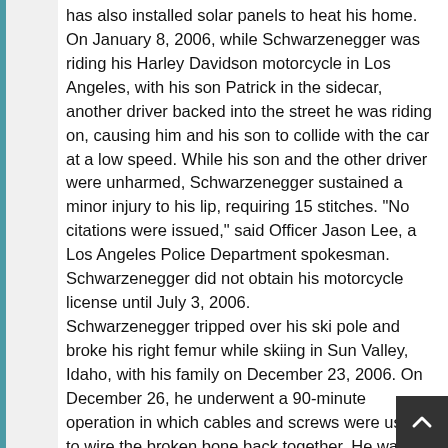has also installed solar panels to heat his home. On January 8, 2006, while Schwarzenegger was riding his Harley Davidson motorcycle in Los Angeles, with his son Patrick in the sidecar, another driver backed into the street he was riding on, causing him and his son to collide with the car at a low speed. While his son and the other driver were unharmed, Schwarzenegger sustained a minor injury to his lip, requiring 15 stitches. "No citations were issued," said Officer Jason Lee, a Los Angeles Police Department spokesman. Schwarzenegger did not obtain his motorcycle license until July 3, 2006. Schwarzenegger tripped over his ski pole and broke his right femur while skiing in Sun Valley, Idaho, with his family on December 23, 2006. On December 26, he underwent a 90-minute operation in which cables and screws were used to wire the broken bone back together. He was released from St. John's Health Center on December 30, 2006.